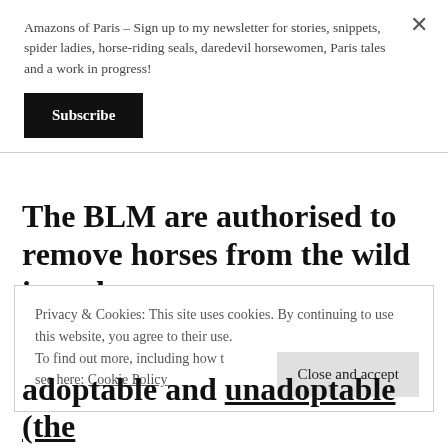Amazons of Paris – Sign up to my newsletter for stories, snippets, spider ladies, horse-riding seals, daredevil horsewomen, Paris tales and a work in progress!
[Figure (other): Black Subscribe button]
The BLM are authorised to remove horses from the wild in order to prevent overpopulation and resulting
Privacy & Cookies: This site uses cookies. By continuing to use this website, you agree to their use.
To find out more, including how to control cookies, see here: Cookie Policy
[Figure (other): Close and accept button]
adoptable and unadoptable (the